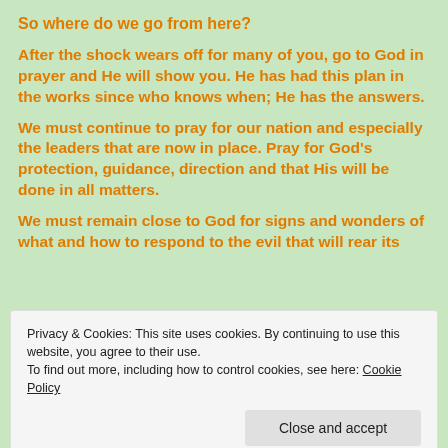So where do we go from here?
After the shock wears off for many of you, go to God in prayer and He will show you. He has had this plan in the works since who knows when; He has the answers.
We must continue to pray for our nation and especially the leaders that are now in place. Pray for God’s protection, guidance, direction and that His will be done in all matters.
We must remain close to God for signs and wonders of what and how to respond to the evil that will rear its
Privacy & Cookies: This site uses cookies. By continuing to use this website, you agree to their use.
To find out more, including how to control cookies, see here: Cookie Policy
We need to pray the church will wake up and begin to